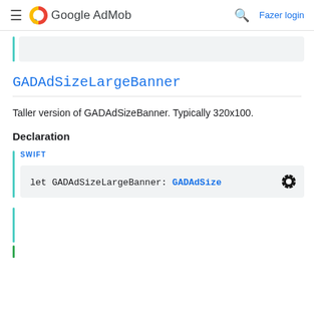Google AdMob — Fazer login
GADAdSizeLargeBanner
Taller version of GADAdSizeBanner. Typically 320x100.
Declaration
SWIFT
let GADAdSizeLargeBanner: GADAdSize